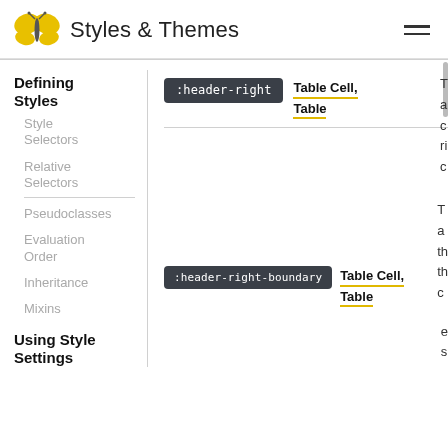Styles & Themes
Defining Styles
Style Selectors
Relative Selectors
Pseudoclasses
Evaluation Order
Inheritance
Mixins
:header-right
Table Cell, Table
:header-right-boundary
Table Cell, Table
Using Style Settings